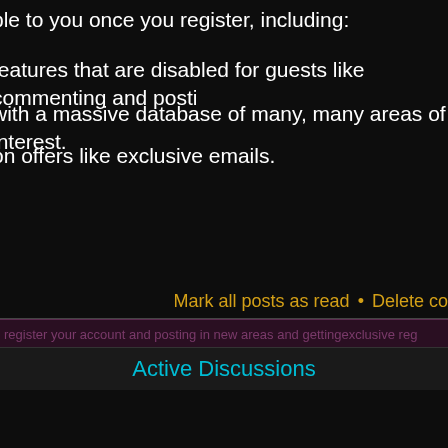ble to you once you register, including:
features that are disabled for guests like commenting and posting
with a massive database of many, many areas of interest.
on offers like exclusive emails.
Mark all posts as read • Delete co
Active Discussions